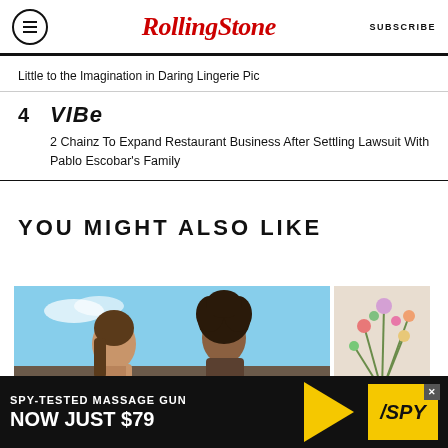RollingStone | SUBSCRIBE
Little to the Imagination in Daring Lingerie Pic
4  VIBE  2 Chainz To Expand Restaurant Business After Settling Lawsuit With Pablo Escobar's Family
YOU MIGHT ALSO LIKE
[Figure (photo): Two people outdoors against blue sky background]
[Figure (photo): Flowers/plants against light background]
[Figure (advertisement): SPY advertisement: SPY-TESTED MASSAGE GUN NOW JUST $79]